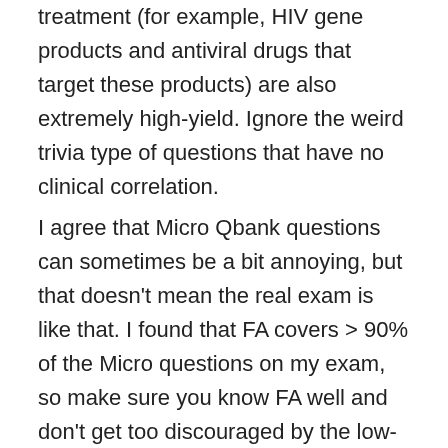treatment (for example, HIV gene products and antiviral drugs that target these products) are also extremely high-yield. Ignore the weird trivia type of questions that have no clinical correlation.
I agree that Micro Qbank questions can sometimes be a bit annoying, but that doesn't mean the real exam is like that. I found that FA covers &gt; 90% of the Micro questions on my exam, so make sure you know FA well and don't get too discouraged by the low-yield questions.
Q: About doing usmleworld 2X: did you